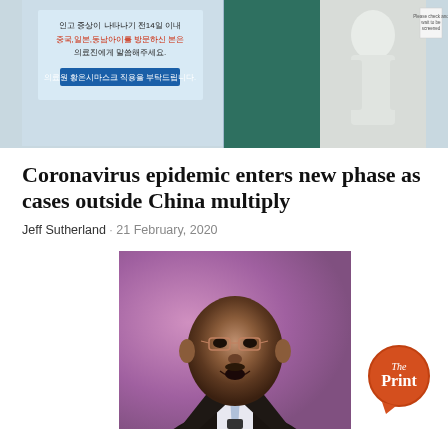[Figure (photo): Top banner photo showing Korean-language COVID-19 safety notice on left panel and a person in white hazmat suit on right panel with a green door]
Coronavirus epidemic enters new phase as cases outside China multiply
Jeff Sutherland · 21 February, 2020
[Figure (photo): Photo of a man speaking at a podium, likely a public health official, in a dark suit with a light blue tie, against a purple/pink background. The Print logo is overlaid in the bottom right.]